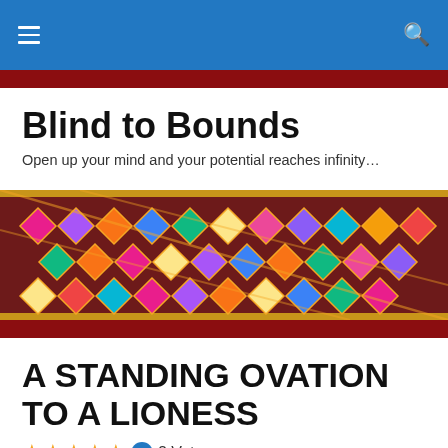Navigation bar with hamburger menu and search icon
[Figure (illustration): Colorful embroidered textile banner with geometric diamond patterns in pink, orange, blue, green, purple, and yellow on dark red background borders]
Blind to Bounds
Open up your mind and your potential reaches infinity…
A STANDING OVATION TO A LIONESS
2 Votes
A lioness who roars in the day light , burns in agony and pain all night. Lives her ordeal every day as fresh as if it